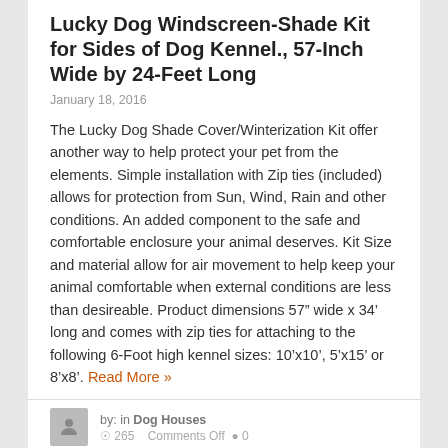Lucky Dog Windscreen-Shade Kit for Sides of Dog Kennel., 57-Inch Wide by 24-Feet Long
January 18, 2016
The Lucky Dog Shade Cover/Winterization Kit offer another way to help protect your pet from the elements. Simple installation with Zip ties (included) allows for protection from Sun, Wind, Rain and other conditions. An added component to the safe and comfortable enclosure your animal deserves. Kit Size and material allow for air movement to help keep your animal comfortable when external conditions are less than desireable. Product dimensions 57” wide x 34’ long and comes with zip ties for attaching to the following 6-Foot high kennel sizes: 10’x10’, 5’x15’ or 8’x8’. Read More »
by: in Dog Houses
265   Comments Off   0